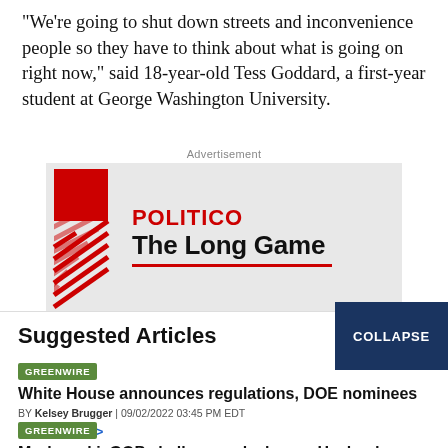"We're going to shut down streets and inconvenience people so they have to think about what is going on right now," said 18-year-old Tess Goddard, a first-year student at George Washington University.
Advertisement
[Figure (logo): POLITICO The Long Game advertisement banner with red square graphic on left and POLITICO logo and 'The Long Game' text on gray background]
Suggested Articles
GREENWIRE
White House announces regulations, DOE nominees
BY Kelsey Brugger | 09/02/2022 03:45 PM EDT
Read More >>
GREENWIRE
Murkowski, GOP challenger clash over Haaland, drilling,